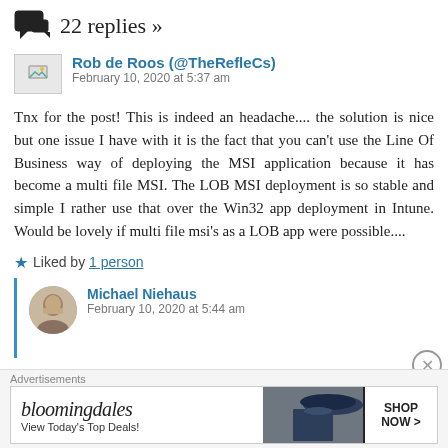22 replies »
Rob de Roos (@TheRefleCs)
February 10, 2020 at 5:37 am
Tnx for the post! This is indeed an headache.... the solution is nice but one issue I have with it is the fact that you can't use the Line Of Business way of deploying the MSI application because it has become a multi file MSI. The LOB MSI deployment is so stable and simple I rather use that over the Win32 app deployment in Intune. Would be lovely if multi file msi's as a LOB app were possible....
Liked by 1 person
Michael Niehaus
February 10, 2020 at 5:44 am
Advertisements
[Figure (other): Bloomingdale's advertisement banner: 'bloomingdales - View Today's Top Deals! SHOP NOW >']